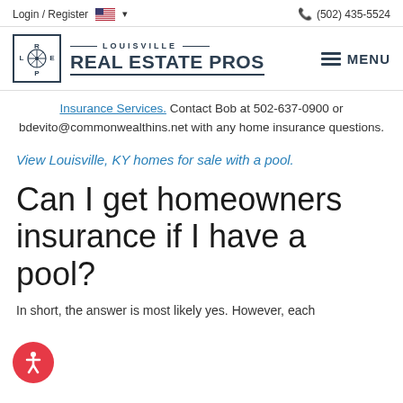Login / Register  🇺🇸 ▾   (502) 435-5524
[Figure (logo): Louisville Real Estate Pros logo with compass rose icon and text]
Insurance Services. Contact Bob at 502-637-0900 or bdevito@commonwealthins.net with any home insurance questions.
View Louisville, KY homes for sale with a pool.
Can I get homeowners insurance if I have a pool?
In short, the answer is most likely yes. However, each